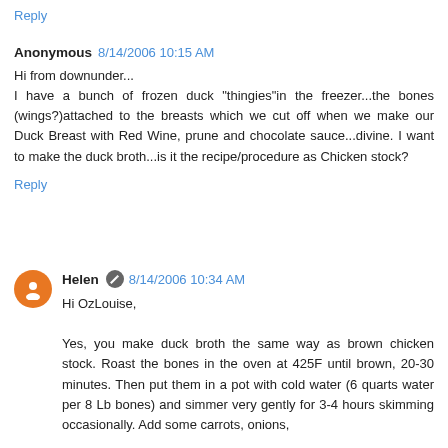Reply
Anonymous 8/14/2006 10:15 AM
Hi from downunder...
I have a bunch of frozen duck "thingies"in the freezer...the bones (wings?)attached to the breasts which we cut off when we make our Duck Breast with Red Wine, prune and chocolate sauce...divine. I want to make the duck broth...is it the recipe/procedure as Chicken stock?
Reply
Helen 8/14/2006 10:34 AM
Hi OzLouise,

Yes, you make duck broth the same way as brown chicken stock. Roast the bones in the oven at 425F until brown, 20-30 minutes. Then put them in a pot with cold water (6 quarts water per 8 Lb bones) and simmer very gently for 3-4 hours skimming occasionally. Add some carrots, onions,